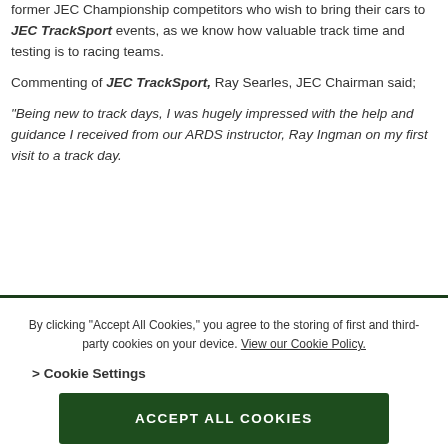former JEC Championship competitors who wish to bring their cars to JEC TrackSport events, as we know how valuable track time and testing is to racing teams.
Commenting of JEC TrackSport, Ray Searles, JEC Chairman said;
“Being new to track days, I was hugely impressed with the help and guidance I received from our ARDS instructor, Ray Ingman on my first visit to a track day.
By clicking “Accept All Cookies,” you agree to the storing of first and third-party cookies on your device. View our Cookie Policy.
> Cookie Settings
ACCEPT ALL COOKIES